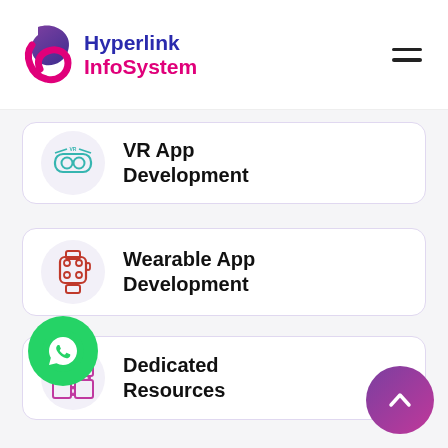Hyperlink InfoSystem
VR App Development
Wearable App Development
Dedicated Resources
AI Development